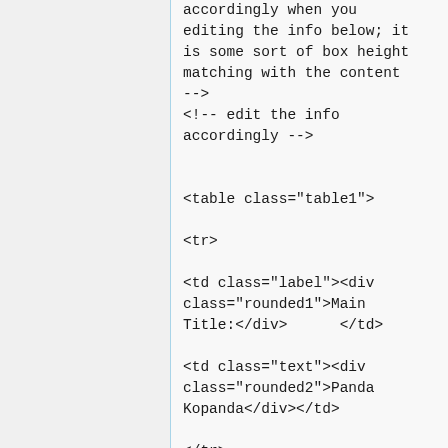accordingly when you
editing the info below; it
is some sort of box height
matching with the content
-->
<!-- edit the info
accordingly -->


<table class="table1">

<tr>

<td class="label"><div
class="rounded1">Main
Title:</div>      </td>

<td class="text"><div
class="rounded2">Panda
Kopanda</div></td>

</tr>

<tr>